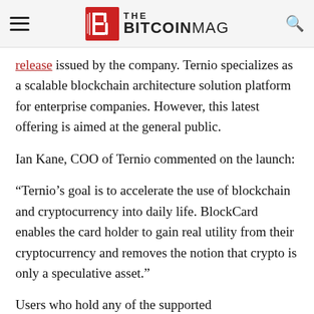THE BITCOINMAG
release issued by the company. Ternio specializes as a scalable blockchain architecture solution platform for enterprise companies. However, this latest offering is aimed at the general public.
Ian Kane, COO of Ternio commented on the launch:
“Ternio’s goal is to accelerate the use of blockchain and cryptocurrency into daily life. BlockCard enables the card holder to gain real utility from their cryptocurrency and removes the notion that crypto is only a speculative asset.”
Users who hold any of the supported cryptocurrencies can deposit these currencies to their BlockCard account once they have registered. Furthermore, account holders have the option of choosing between a physical and virtual card – the physical card being